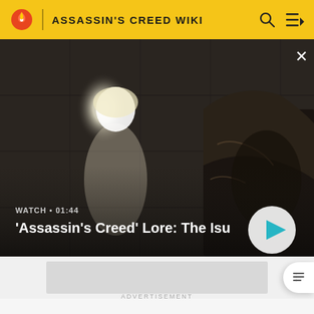ASSASSIN'S CREED WIKI
[Figure (screenshot): Video player overlay showing a glowing white female figure and a dark hooded figure from Assassin's Creed, with play button and video info overlay reading 'WATCH • 01:44' and title ''Assassin's Creed' Lore: The Isu', with a close (×) button in top-right.]
ADVERTISEMENT